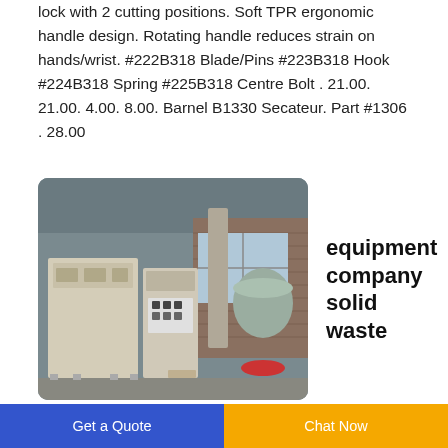lock with 2 cutting positions. Soft TPR ergonomic handle design. Rotating handle reduces strain on hands/wrist. #222B318 Blade/Pins #223B318 Hook #224B318 Spring #225B318 Centre Bolt . 21.00. 21.00. 4.00. 8.00. Barnel B1330 Secateur. Part #1306 . 28.00
[Figure (photo): Industrial solid waste processing equipment in a factory/warehouse setting. Large beige/cream colored machinery units with control panels, metal structures, and industrial components inside a brick building.]
equipment company solid waste
management coordinating
Get a Quote  |  Chat Now